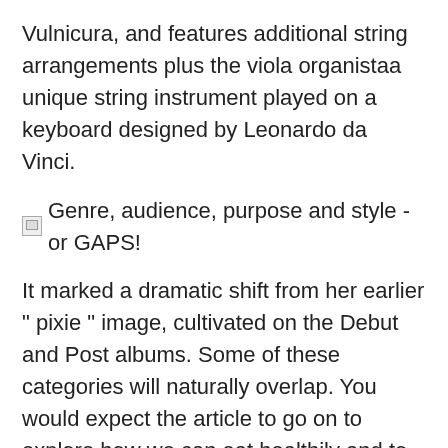Vulnicura, and features additional string arrangements plus the viola organistaa unique string instrument played on a keyboard designed by Leonardo da Vinci.
Genre, audience, purpose and style - or GAPS!
It marked a dramatic shift from her earlier " pixie " image, cultivated on the Debut and Post albums. Some of these categories will naturally overlap. You would expect the article to go on to explore how we can eat healthily and to conclude with an explanation of how easy it is to do this.
The single "All is Full of Love" was also the first DVD single to ever be released in the US, which paved the way for other artists to include DVD video and other multimedia features with their singles. On 2 OctoberVulnicura Strings was announced. The album was certified gold in the US in We are busy people; how do we